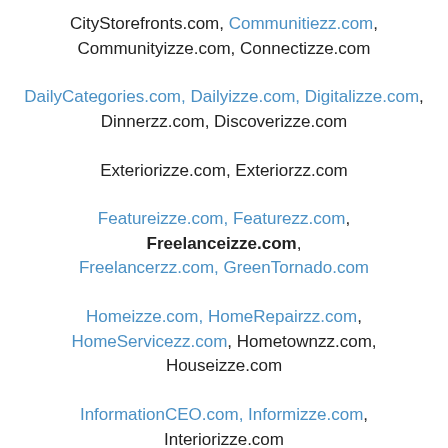CityStorefronts.com, Communitiezz.com, Communityizze.com, Connectizze.com
DailyCategories.com, Dailyizze.com, Digitalizze.com, Dinnerzz.com, Discoverizze.com
Exteriorizze.com, Exteriorzz.com
Featureizze.com, Featurezz.com, Freelanceizze.com, Freelancerzz.com, GreenTornado.com
Homeizze.com, HomeRepairzz.com, HomeServicezz.com, Hometownzz.com, Houseizze.com
InformationCEO.com, Informizze.com, Interiorizze.com